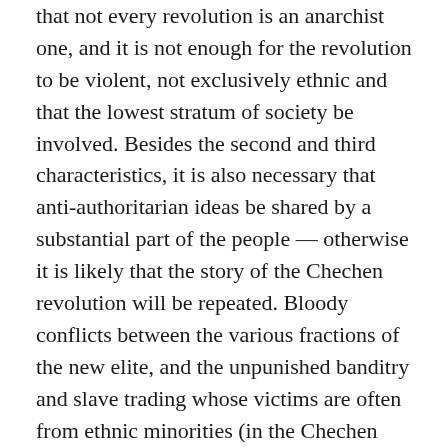that not every revolution is an anarchist one, and it is not enough for the revolution to be violent, not exclusively ethnic and that the lowest stratum of society be involved. Besides the second and third characteristics, it is also necessary that anti-authoritarian ideas be shared by a substantial part of the people — otherwise it is likely that the story of the Chechen revolution will be repeated. Bloody conflicts between the various fractions of the new elite, and the unpunished banditry and slave trading whose victims are often from ethnic minorities (in the Chechen case Terek Cossacks and other Russians, Nogais and others), and at times even members of the Chechnyan majority.
Anarchist resistance against the Second Chechen War
Most likely, even without the explosions of 1999, the anti-war movement would have been miserable, but